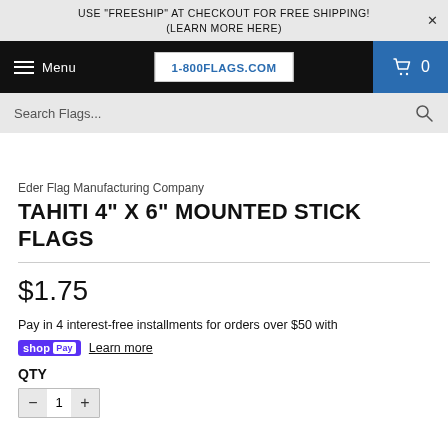USE "FREESHIP" AT CHECKOUT FOR FREE SHIPPING! (LEARN MORE HERE)
Menu | 1-800FLAGS.COM | 0
Search Flags...
Eder Flag Manufacturing Company
TAHITI 4" X 6" MOUNTED STICK FLAGS
$1.75
Pay in 4 interest-free installments for orders over $50 with
shop Pay Learn more
QTY